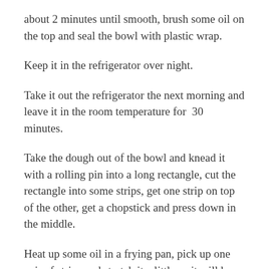about 2 minutes until smooth, brush some oil on the top and seal the bowl with plastic wrap.
Keep it in the refrigerator over night.
Take it out the refrigerator the next morning and leave it in the room temperature for  30 minutes.
Take the dough out of the bowl and knead it with a rolling pin into a long rectangle, cut the rectangle into some strips, get one strip on top of the other, get a chopstick and press down in the middle.
Heat up some oil in a frying pan, pick up one pair of strips and stretch it a little so it will be a little longer and use some strength on the fingers used to pick up the strips so the ends will stick together.